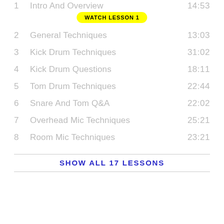1  Intro And Overview  14:53
2  General Techniques  13:03
3  Kick Drum Techniques  31:02
4  Kick Drum Questions  18:11
5  Tom Drum Techniques  22:44
6  Snare And Tom Q&A  22:02
7  Overhead Mic Techniques  25:21
8  Room Mic Techniques  23:21
SHOW ALL 17 LESSONS